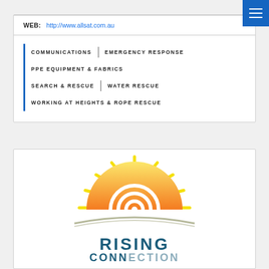WEB: http://www.allsat.com.au
COMMUNICATIONS | EMERGENCY RESPONSE
PPE EQUIPMENT & FABRICS
SEARCH & RESCUE | WATER RESCUE
WORKING AT HEIGHTS & ROPE RESCUE
[Figure (logo): Rising Connection logo with sunrise/wifi symbol and text RISING CONNECTION]